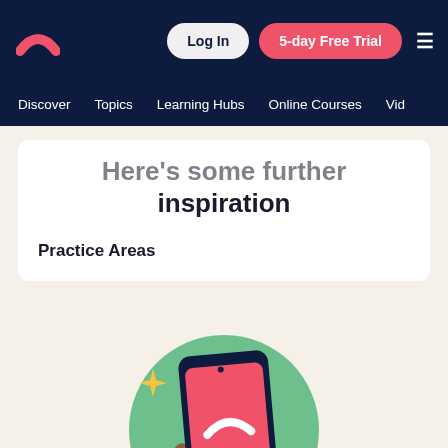Log In | 5-day Free Trial
Discover | Topics | Learning Hubs | Online Courses | Vid
Here's some further inspiration
Practice Areas
[Figure (illustration): Hand holding a smartphone with a pink screen showing the app logo (rainbow arc) on a green circular background, with yellow sparkle stars around it]